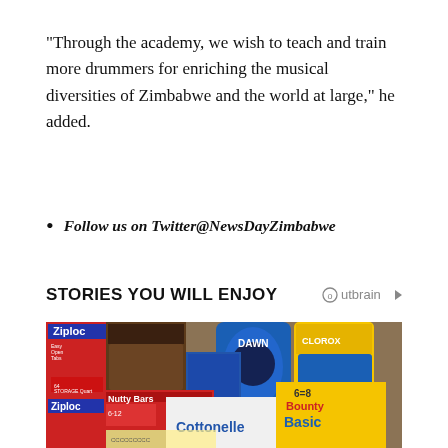“Through the academy, we wish to teach and train more drummers for enriching the musical diversities of Zimbabwe and the world at large,” he added.
Follow us on Twitter@NewsDayZimbabwe
STORIES YOU WILL ENJOY
[Figure (photo): Photo of grocery/household products including Ziploc, Dawn, Clorox, Nutty Bars, Cottonelle, and Bounty Basic arranged on a couch]